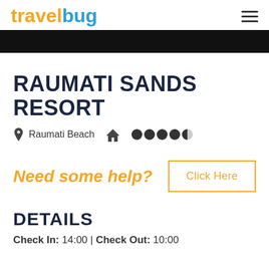travelbug
RAUMATI SANDS RESORT
Raumati Beach  [home icon]  [rating: 4.5 dots]
Need some help?  Click Here
DETAILS
Check In: 14:00 | Check Out: 10:00